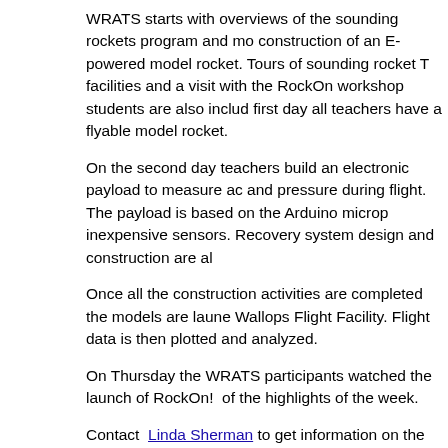WRATS starts with overviews of the sounding rockets program and mo construction of an E-powered model rocket. Tours of sounding rocket T facilities and a visit with the RockOn workshop students are also inclu first day all teachers have a flyable model rocket.
On the second day teachers build an electronic payload to measure ac and pressure during flight. The payload is based on the Arduino microp inexpensive sensors. Recovery system design and construction are al
Once all the construction activities are completed the models are laun Wallops Flight Facility. Flight data is then plotted and analyzed.
On Thursday the WRATS participants watched the launch of RockOn! of the highlights of the week.
Contact Linda Sherman to get information on the 2018 application pr not accepted until the spring.
The Viking Mars Missions Education and Preservation Project (VM Google Cultural Institute present the online Viking Mission Muse
Over 300 artifacts from The Viking Mars Missions Education & Preserv (VMMEPP) are available around the world via a partnership between V Google Cultural Institute. Thanks to this new virtual exhibition, users w complete set of the Viking Mission Bulletins that guided the public and preparation, launch and discoveries, a previously unpublished detailed Viking Meteorology Instrument, a unique White House document requi Lunar Orbiter document by the team that helped NASA Langley win th and many other treasures of the museum in just a few clicks at The Vil